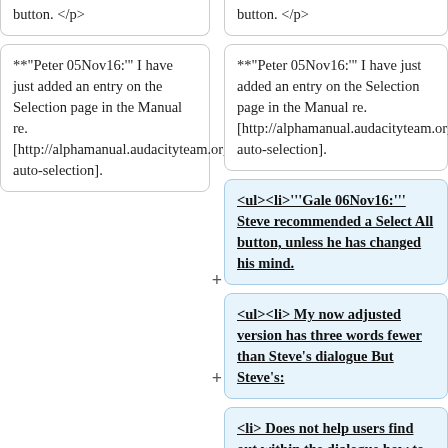button. </p>
button. </p>
**"Peter 05Nov16:'" I have just added an entry on the Selection page in the Manual re. [http://alphamanual.audacityteam.org/man/Audacity_Selection#auto auto-selection].
**"Peter 05Nov16:'" I have just added an entry on the Selection page in the Manual re. [http://alphamanual.audacityteam.org/man/Audacity_Selection#auto auto-selection].
<ul><li>'''Gale 06Nov16:''' Steve recommended a Select All button, unless he has changed his mind.
<ul><li> My now adjusted version has three words fewer than Steve's dialogue But Steve's:
<li> Does not help users find out within the dialogue how to